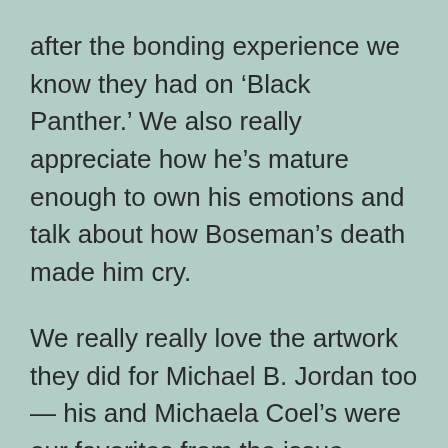after the bonding experience we know they had on ‘Black Panther.’ We also really appreciate how he’s mature enough to own his emotions and talk about how Boseman’s death made him cry.
We really really love the artwork they did for Michael B. Jordan too — his and Michaela Coel’s were our favorites from the issue. Speaking of which, hit the flip for more images and excerpts from the magazine.